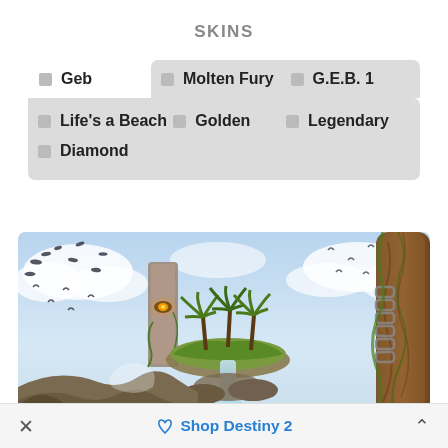SKINS
Geb
Molten Fury
G.E.B. 1
Life's a Beach
Golden
Legendary
Diamond
[Figure (illustration): Fantasy game art showing floating island with waterfalls, palm trees, a stone monolith with glowing eye, chains on a large tree trunk on the right, birds flying in cloudy sky]
Shop Destiny 2